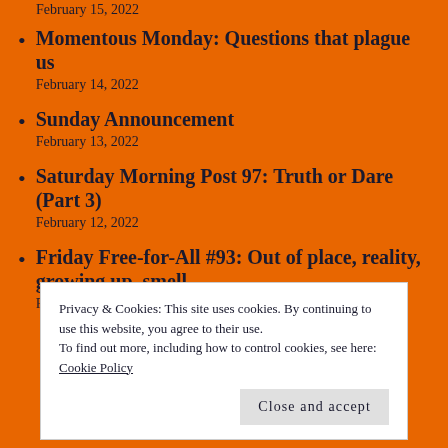February 15, 2022
Momentous Monday: Questions that plague us
February 14, 2022
Sunday Announcement
February 13, 2022
Saturday Morning Post 97: Truth or Dare (Part 3)
February 12, 2022
Friday Free-for-All #93: Out of place, reality, growing up, smell
February 11, 2022
Privacy & Cookies: This site uses cookies. By continuing to use this website, you agree to their use.
To find out more, including how to control cookies, see here: Cookie Policy
Close and accept